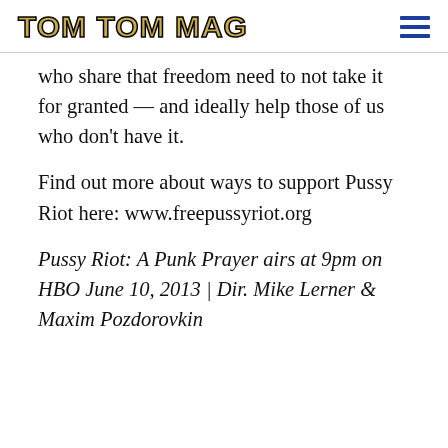TOM TOM MAG
who share that freedom need to not take it for granted — and ideally help those of us who don't have it.
Find out more about ways to support Pussy Riot here: www.freepussyriot.org
Pussy Riot: A Punk Prayer airs at 9pm on HBO June 10, 2013 | Dir. Mike Lerner & Maxim Pozdorovkin